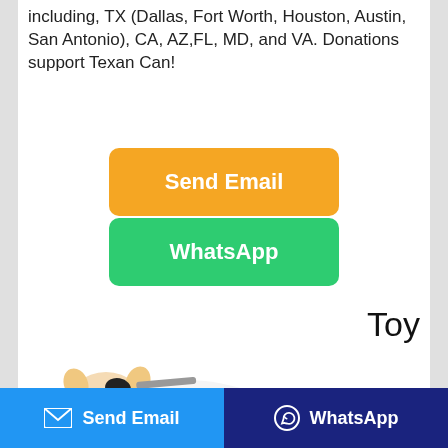including, TX (Dallas, Fort Worth, Houston, Austin, San Antonio), CA, AZ,FL, MD, and VA. Donations support Texan Can!
[Figure (screenshot): Orange 'Send Email' button and green 'WhatsApp' button, both rounded rectangles centered on white background]
Toy
[Figure (photo): Plush cow toy lying down, black and white spots, cute face with large eyes]
Send Email   WhatsApp